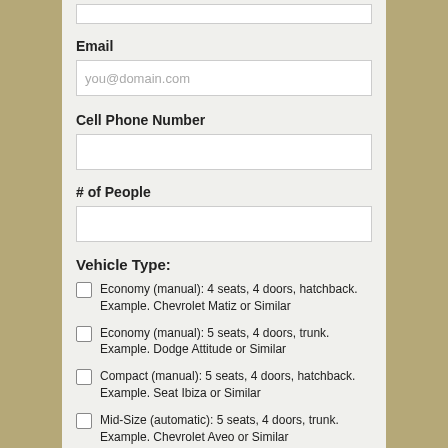(top input box — partially visible)
Email
you@domain.com
Cell Phone Number
(empty input)
# of People
(empty input)
Vehicle Type:
Economy (manual): 4 seats, 4 doors, hatchback. Example. Chevrolet Matiz or Similar
Economy (manual): 5 seats, 4 doors, trunk. Example. Dodge Attitude or Similar
Compact (manual): 5 seats, 4 doors, hatchback. Example. Seat Ibiza or Similar
Mid-Size (automatic): 5 seats, 4 doors, trunk. Example. Chevrolet Aveo or Similar